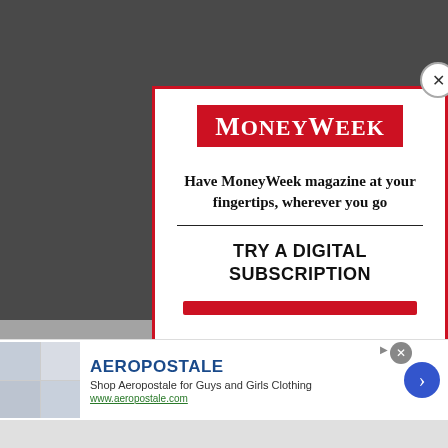[Figure (screenshot): Screenshot of MoneyWeek website with a modal overlay popup. Background shows a dark image with money/cash, partially visible article text 'Find P... Repay...' and 'PPP Loan...' A modal dialog with red border contains the MoneyWeek logo, promotional text, and a digital subscription call to action. An Aeropostale advertisement banner appears at the bottom.]
Have MoneyWeek magazine at your fingertips, wherever you go
TRY A DIGITAL SUBSCRIPTION
Find P... Repay...
PPP Loan...
AEROPOSTALE
Shop Aeropostale for Guys and Girls Clothing
www.aeropostale.com